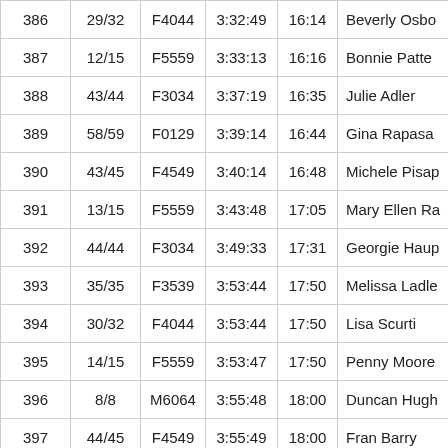| 386 | 29/32 | F4044 | 3:32:49 | 16:14 | Beverly Osbo |
| 387 | 12/15 | F5559 | 3:33:13 | 16:16 | Bonnie Patte |
| 388 | 43/44 | F3034 | 3:37:19 | 16:35 | Julie Adler |
| 389 | 58/59 | F0129 | 3:39:14 | 16:44 | Gina Rapasa |
| 390 | 43/45 | F4549 | 3:40:14 | 16:48 | Michele Pisap |
| 391 | 13/15 | F5559 | 3:43:48 | 17:05 | Mary Ellen Ra |
| 392 | 44/44 | F3034 | 3:49:33 | 17:31 | Georgie Haup |
| 393 | 35/35 | F3539 | 3:53:44 | 17:50 | Melissa Ladle |
| 394 | 30/32 | F4044 | 3:53:44 | 17:50 | Lisa Scurti |
| 395 | 14/15 | F5559 | 3:53:47 | 17:50 | Penny Moore |
| 396 | 8/8 | M6064 | 3:55:48 | 18:00 | Duncan Hugh |
| 397 | 44/45 | F4549 | 3:55:49 | 18:00 | Fran Barry |
| 398 | 18/18 | F5054 | 4:00:49 | 18:23 | Joyce Cram |
| 399 | 31/32 | F4044 | 4:01:02 | 18:24 | Frances Willis |
| ... | 47/47 | F4549 | 4:01:09 | 18:24 | Ann Tins... |